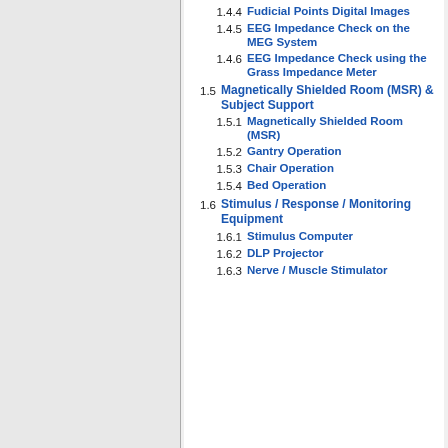1.4.4 Fudicial Points Digital Images
1.4.5 EEG Impedance Check on the MEG System
1.4.6 EEG Impedance Check using the Grass Impedance Meter
1.5 Magnetically Shielded Room (MSR) & Subject Support
1.5.1 Magnetically Shielded Room (MSR)
1.5.2 Gantry Operation
1.5.3 Chair Operation
1.5.4 Bed Operation
1.6 Stimulus / Response / Monitoring Equipment
1.6.1 Stimulus Computer
1.6.2 DLP Projector
1.6.3 Nerve / Muscle Stimulator